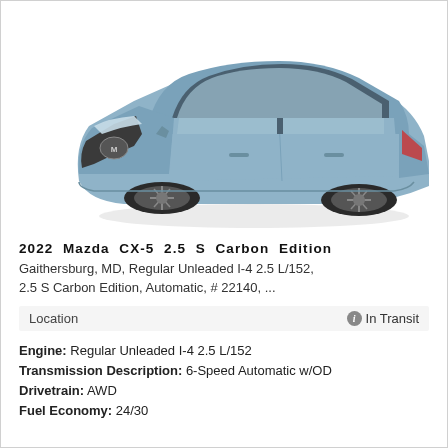[Figure (photo): Silver/grey Mazda CX-5 2.5 S Carbon Edition SUV shown in three-quarter front view on white background]
2022 Mazda CX-5 2.5 S Carbon Edition
Gaithersburg, MD, Regular Unleaded I-4 2.5 L/152, 2.5 S Carbon Edition, Automatic, # 22140, ...
Location    ⓘ In Transit
Engine: Regular Unleaded I-4 2.5 L/152
Transmission Description: 6-Speed Automatic w/OD
Drivetrain: AWD
Fuel Economy: 24/30